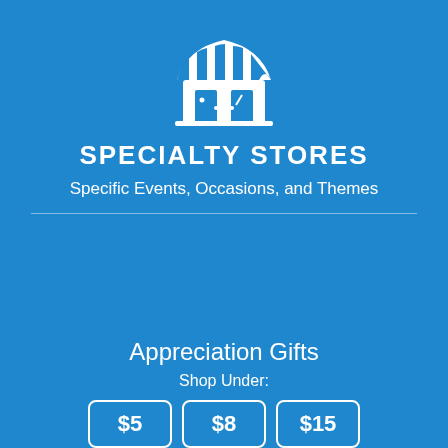[Figure (illustration): White store/shop icon with awning stripes on blue background]
SPECIALTY STORES
Specific Events, Occasions, and Themes
Appreciation Gifts
Shop Under:
$5  $8  $15